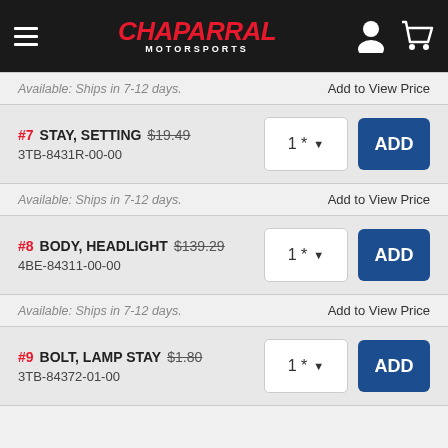[Figure (logo): Chaparral Motorsports logo in red italic script with white MOTORSPORTS text below, on black header bar with hamburger menu, person icon, and cart icon]
Available: Ships in 7-12 days.   Add to View Price
#7 STAY, SETTING  $19.49  3TB-8431R-00-00
Available: Ships in 7-12 days.   Add to View Price
#8 BODY, HEADLIGHT  $139.29  4BE-84311-00-00
Available: Ships in 7-12 days.   Add to View Price
#9 BOLT, LAMP STAY  $1.80  3TB-84372-01-00